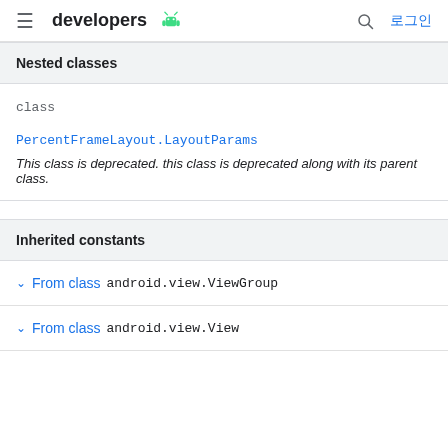developers 로그인
Nested classes
class
PercentFrameLayout.LayoutParams
This class is deprecated. this class is deprecated along with its parent class.
Inherited constants
From class android.view.ViewGroup
From class android.view.View